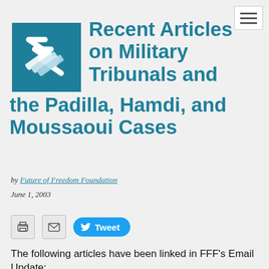[Figure (logo): Future of Freedom Foundation logo — teal/dark blue square with stylized white 'FFF' text]
Recent Articles on Military Tribunals and the Padilla, Hamdi, and Moussaoui Cases
by Future of Freedom Foundation
June 1, 2003
[Figure (infographic): Social sharing bar with print icon, email icon, and Tweet button]
The following articles have been linked in FFF's Email Update: